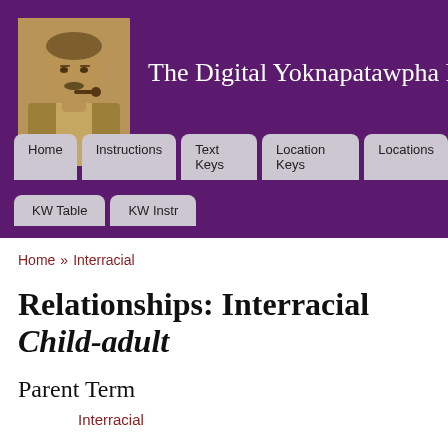The Digital Yoknapatawpha P
Home » Interracial
Relationships: Interracial Child-adult
Parent Term
Interracial
Sibling Terms
Aggellious  Boss-employee  Companions  Competitive  Confli...